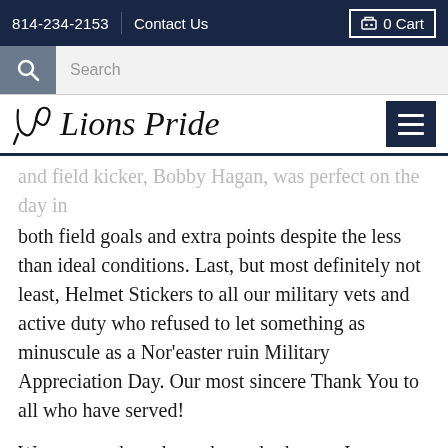814-234-2153  Contact Us  0 Cart
Search
Lions Pride
and field kicker, Bobby Hagan, was perfect on the day in both field goals and extra points despite the less than ideal conditions. Last, but most definitely not least, Helmet Stickers to all our military vets and active duty who refused to let something as minuscule as a Nor'easter ruin Military Appreciation Day. Our most sincere Thank You to all who have served!
We may not have been the underdogs as I erroneously thought this time last week but make no mistake about it, this one was a must-win if there ever was one. We couldn't have started any worse than we did on Saturday afternoon,